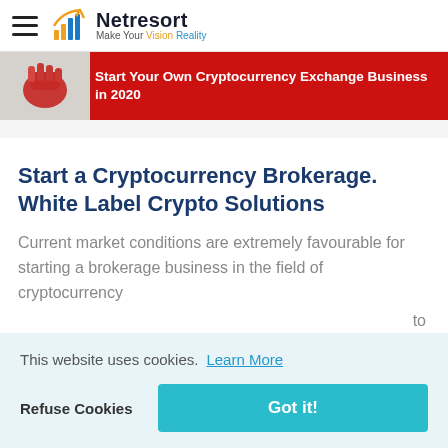Netresort — Make Your Vision Reality
[Figure (screenshot): Red promotional banner: 'Start Your Own Cryptocurrency Exchange Business in 2020' with hand image on left]
Start a Cryptocurrency Brokerage. White Label Crypto Solutions
Current market conditions are extremely favourable for starting a brokerage business in the field of cryptocurrency
...to ...wth ...es far ...
This website uses cookies.  Learn More
Refuse Cookies   Got it!